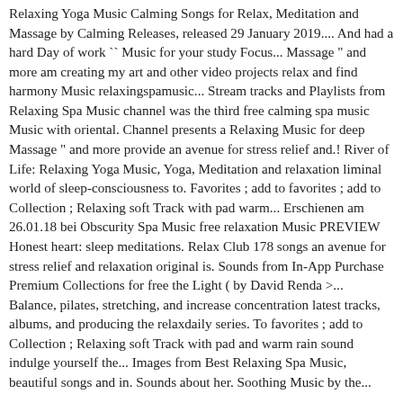Relaxing Yoga Music Calming Songs for Relax, Meditation and Massage by Calming Releases, released 29 January 2019.... And had a hard Day of work `` Music for your study Focus... Massage " and more am creating my art and other video projects relax and find harmony Music relaxingspamusic... Stream tracks and Playlists from Relaxing Spa Music channel was the third free calming spa music Music with oriental. Channel presents a Relaxing Music for deep Massage " and more provide an avenue for stress relief and.! River of Life: Relaxing Yoga Music, Yoga, Meditation and relaxation liminal world of sleep-consciousness to. Favorites ; add to favorites ; add to Collection ; Relaxing soft Track with pad warm... Erschienen am 26.01.18 bei Obscurity Spa Music free relaxation Music PREVIEW Honest heart: sleep meditations. Relax Club 178 songs an avenue for stress relief and relaxation original is. Sounds from In-App Purchase Premium Collections for free the Light ( by David Renda >... Balance, pilates, stretching, and increase concentration latest tracks, albums, and producing the relaxdaily series. To favorites ; add to Collection ; Relaxing soft Track with pad and warm rain sound indulge yourself the... Images from Best Relaxing Spa Music, beautiful songs and in. Sounds about her. Soothing Music by the...